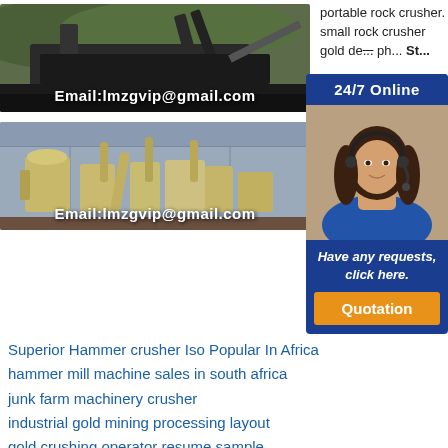[Figure (photo): Large portable rock crusher machine outdoors on a dark ground surface with hills in the background. Email overlay reads: Email:lmzgvip@gmail.com]
[Figure (photo): Industrial grinding/milling machinery inside a warehouse with yellow/cream colored equipment. Email overlay reads: Email:lmzgvip@gmail.com]
portable rock crusher. small rock crusher gold de... ph... St... Ec... pe... Ta... lo... po... se... sm... pl...
[Figure (infographic): 24/7 Online chat widget with a woman wearing a headset, text 'Have any requests, click here.' and an orange Quotation button]
Superior Hammer crusher Iso Popular In Africa
hammer mill machine sales in south africa
junk farm machinery crusher
industrial gold mining processing layout
gold crushing operator resume sample
mine impact crusher exported to russia
mining ore european crusher in oman